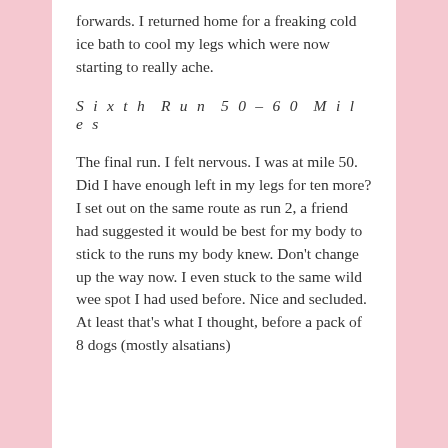forwards. I returned home for a freaking cold ice bath to cool my legs which were now starting to really ache.
Sixth Run 50–60 Miles
The final run. I felt nervous. I was at mile 50. Did I have enough left in my legs for ten more?
I set out on the same route as run 2, a friend had suggested it would be best for my body to stick to the runs my body knew. Don’t change up the way now. I even stuck to the same wild wee spot I had used before. Nice and secluded. At least that’s what I thought, before a pack of 8 dogs (mostly alsatians)